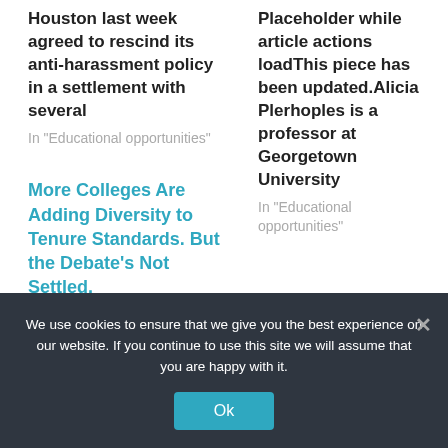Houston last week agreed to rescind its anti-harassment policy in a settlement with several
In "Educational opportunities"
Placeholder while article actions loadThis piece has been updated.Alicia Plerhoples is a professor at Georgetown University
In "Educational opportunities"
More Colleges Are Adding Diversity to Tenure Standards. But the Debate’s Not Settled.
The California Community Colleges system approved a new
We use cookies to ensure that we give you the best experience on our website. If you continue to use this site we will assume that you are happy with it.